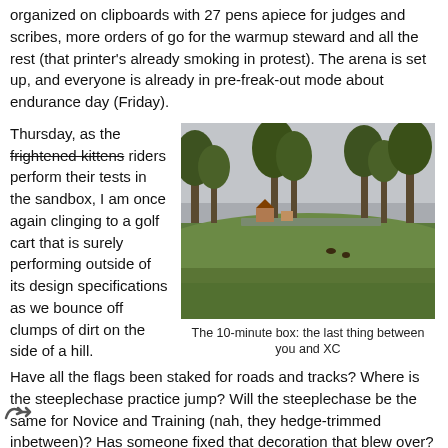organized on clipboards with 27 pens apiece for judges and scribes, more orders of go for the warmup steward and all the rest (that printer's already smoking in protest).  The arena is set up, and everyone is already in pre-freak-out mode about endurance day (Friday).
Thursday, as the frightened kittens riders perform their tests in the sandbox, I am once again clinging to a golf cart that is surely performing outside of its design specifications as we bounce off clumps of dirt on the side of a hill.  Have all the flags been staked for roads and tracks?  Where is the steeplechase practice jump?  Will the steeplechase be the same for Novice and Training (nah, they hedge-trimmed inbetween)?  Has someone fixed that decoration that blew over?  How are we going to stretch the 10 extra Friday volunteers (for shame, peeps, for
[Figure (photo): Outdoor field/paddock area with trees in the background, green grass, overcast sky — the 10-minute box area before cross country.]
The 10-minute box:  the last thing between you and XC